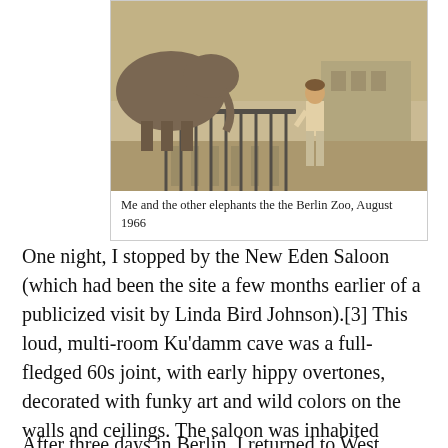[Figure (photo): Sepia-toned vintage photograph of a man standing near a fence at a zoo, with elephants visible in the background. The setting appears to be an outdoor zoo enclosure.]
Me and the other elephants the the Berlin Zoo, August 1966
One night, I stopped by the New Eden Saloon (which had been the site a few months earlier of a publicized visit by Linda Bird Johnson).[3] This loud, multi-room Ku'damm cave was a full-fledged 60s joint, with early hippy overtones, decorated with funky art and wild colors on the walls and ceilings. The saloon was inhabited mostly by college-age students drinking beer, scarfing reasonably priced food, and enjoying the music.
After three days in Berlin, I returned to West Germany and